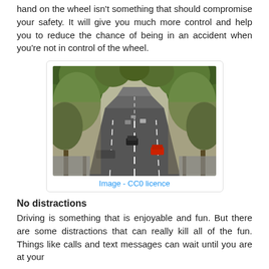hand on the wheel isn't something that should compromise your safety. It will give you much more control and help you to reduce the chance of being in an accident when you're not in control of the wheel.
[Figure (photo): Aerial view of a tree-lined urban road with multiple lanes of traffic, cars visible in both directions, green leafy trees on both sides forming a canopy overhead.]
Image - CC0 licence
No distractions
Driving is something that is enjoyable and fun. But there are some distractions that can really kill all of the fun. Things like calls and text messages can wait until you are at your